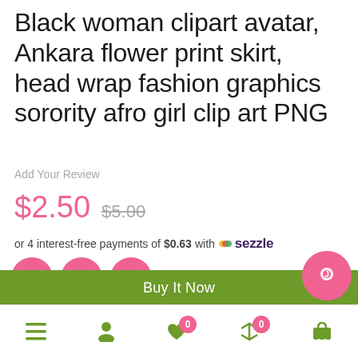Black woman clipart avatar, Ankara flower print skirt, head wrap fashion graphics sorority afro girl clip art PNG
Add Your Review
$2.50  $5.00
or 4 interest-free payments of $0.63 with 🍃 sezzle
[Figure (screenshot): Pinterest, Facebook, Twitter social share icon circles in pink]
COMPARE  |  ADD TO WISHLIST
1  Add to cart
Buy It Now
Bottom navigation bar with menu, profile, wishlist (0), compare (0), cart icons and chat button